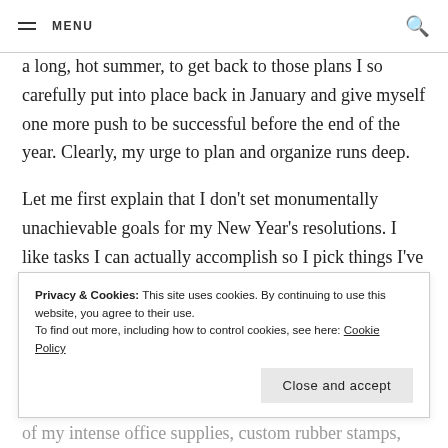MENU
a long, hot summer, to get back to those plans I so carefully put into place back in January and give myself one more push to be successful before the end of the year. Clearly, my urge to plan and organize runs deep.
Let me first explain that I don't set monumentally unachievable goals for my New Year's resolutions. I like tasks I can actually accomplish so I pick things I've wanted to do or try but have put off or never gotten around to doing. Think more like a yearly bucket list.
Privacy & Cookies: This site uses cookies. By continuing to use this website, you agree to their use.
To find out more, including how to control cookies, see here: Cookie Policy
of my intense office supplies, custom rubber stamps,